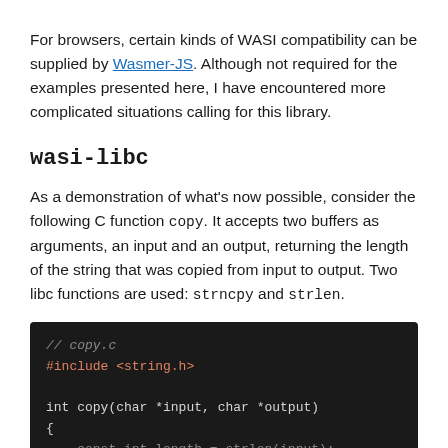For browsers, certain kinds of WASI compatibility can be supplied by Wasmer-JS. Although not required for the examples presented here, I have encountered more complicated situations calling for this library.
wasi-libc
As a demonstration of what's now possible, consider the following C function copy. It accepts two buffers as arguments, an input and an output, returning the length of the string that was copied from input to output. Two libc functions are used: strncpy and strlen.
[Figure (screenshot): Dark-themed code block showing C source code for copy.c, including #include <string.h>, function signature int copy(char *input, char *output), opening brace, and a partially visible line: const int length = strlen(input);]